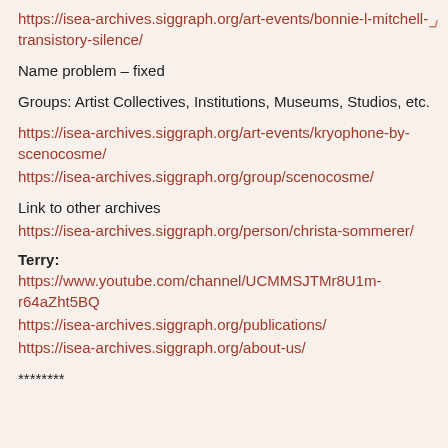https://isea-archives.siggraph.org/art-events/bonnie-l-mitchell-transistory-silence/
Name problem – fixed
Groups: Artist Collectives, Institutions, Museums, Studios, etc.
https://isea-archives.siggraph.org/art-events/kryophone-by-scenocosme/
https://isea-archives.siggraph.org/group/scenocosme/
Link to other archives
https://isea-archives.siggraph.org/person/christa-sommerer/
Terry:
https://www.youtube.com/channel/UCMMSJTMr8U1m-r64aZht5BQ
https://isea-archives.siggraph.org/publications/
https://isea-archives.siggraph.org/about-us/
********